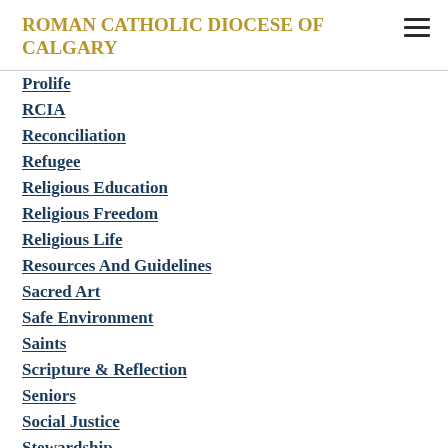ROMAN CATHOLIC DIOCESE OF CALGARY
Prolife
RCIA
Reconciliation
Refugee
Religious Education
Religious Freedom
Religious Life
Resources And Guidelines
Sacred Art
Safe Environment
Saints
Scripture & Reflection
Seniors
Social Justice
Stewardship
St. Joseph